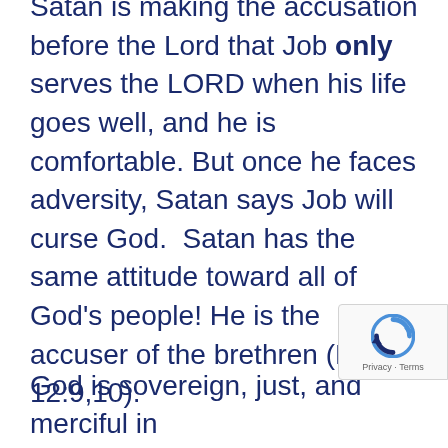Satan is making the accusation before the Lord that Job only serves the LORD when his life goes well, and he is comfortable. But once he faces adversity, Satan says Job will curse God.  Satan has the same attitude toward all of God's people! He is the accuser of the brethren (Rev. 12:9,10).
God
God is sovereign, just, and merciful in